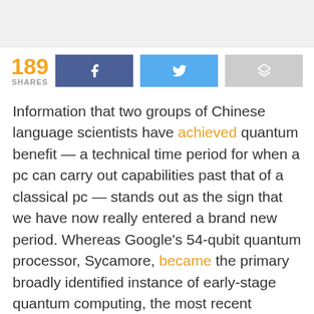[Figure (screenshot): Gray top banner area]
189 SHARES [Facebook button] [Twitter button] [Share button]
Information that two groups of Chinese language scientists have achieved quantum benefit — a technical time period for when a pc can carry out capabilities past that of a classical pc — stands out as the sign that we have now really entered a brand new period. Whereas Google's 54-qubit quantum processor, Sycamore, became the primary broadly identified instance of early-stage quantum computing, the most recent information out of the College of Science and Know-how of China in Hefei is one of the best proof but that we have now crossed the data rubicon.